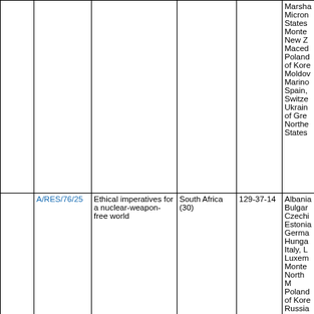|  |  |  |  |  |  |
| --- | --- | --- | --- | --- | --- |
|  |  |  |  |  | Marsha...
Micron...
States...
Monter...
New Z...
Maced...
Poland...
of Kore...
Moldov...
Marino...
Spain,...
Switze...
Ukrain...
of Gre...
Northe...
States... |
|  | A/RES/76/25 | Ethical imperatives for a nuclear-weapon-free world | South Africa (30) | 129-37-14 | Albania...
Bulgar...
Czechi...
Estonia...
Germa...
Hunga...
Italy, L...
Luxem...
Monter...
North M...
Poland...
of Kore...
Russia...
Slovak...
Turkow... |